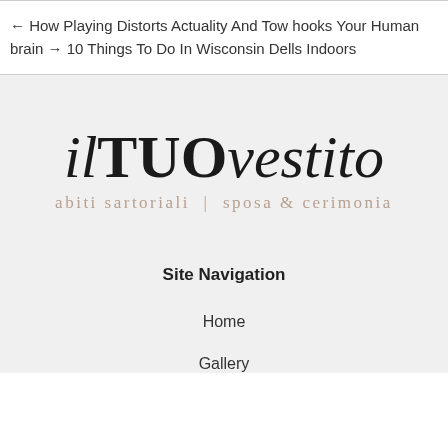← How Playing Distorts Actuality And Tow hooks Your Human brain → 10 Things To Do In Wisconsin Dells Indoors
[Figure (logo): il TUO vestito logo with tagline 'abiti sartoriali | sposa & cerimonia']
Site Navigation
Home
Gallery